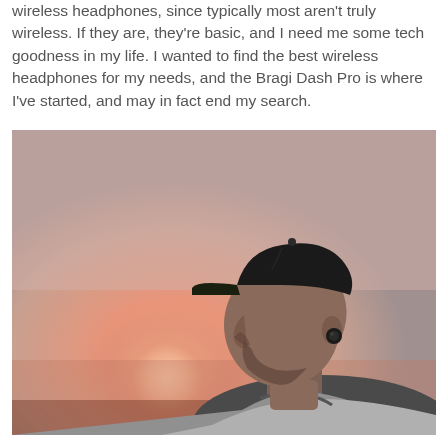wireless headphones, since typically most aren't truly wireless. If they are, they're basic, and I need me some tech goodness in my life. I wanted to find the best wireless headphones for my needs, and the Bragi Dash Pro is where I've started, and may in fact end my search.
[Figure (photo): A man in profile view wearing a black baseball cap and a small wireless earbud in his ear, with a warm sunset bokeh background in pinkish-orange tones. He is wearing a grey t-shirt and has a short beard.]